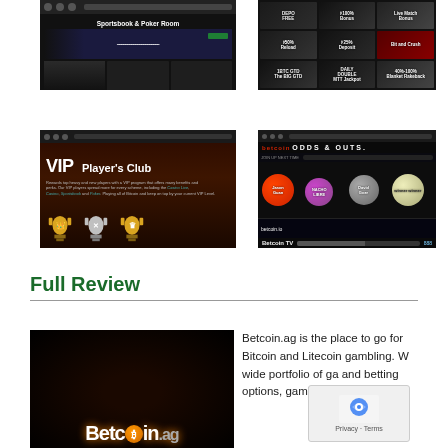[Figure (screenshot): Betcoin.ag Sportsbook & Poker Room website screenshot showing dark themed header and game thumbnails]
[Figure (screenshot): Betcoin.ag promotions page showing grid of 9 promotional banners including deposit bonuses and Bitcoin bonuses]
[Figure (screenshot): VIP Player's Club page with dark wood background showing trophy icons for different VIP tiers]
[Figure (screenshot): Betcoin TV page showing Odds & Outs game interface with colorful bubble graphics]
Full Review
[Figure (screenshot): Betcoin.ag logo on dark background]
Betcoin.ag is the place to go for Bitcoin and Litecoin gambling. W wide portfolio of ga and betting options, gambling site is one of